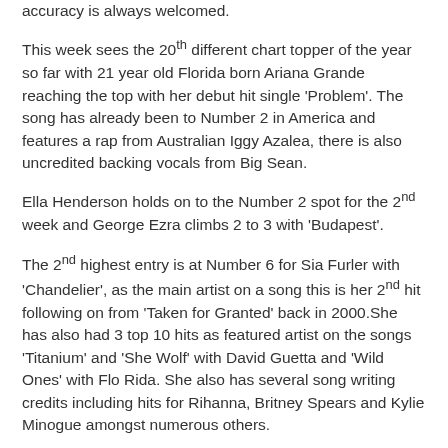accuracy is always welcomed.
This week sees the 20th different chart topper of the year so far with 21 year old Florida born Ariana Grande reaching the top with her debut hit single 'Problem'. The song has already been to Number 2 in America and features a rap from Australian Iggy Azalea, there is also uncredited backing vocals from Big Sean.
Ella Henderson holds on to the Number 2 spot for the 2nd week and George Ezra climbs 2 to 3 with 'Budapest'.
The 2nd highest entry is at Number 6 for Sia Furler with 'Chandelier', as the main artist on a song this is her 2nd hit following on from 'Taken for Granted' back in 2000.She has also had 3 top 10 hits as featured artist on the songs 'Titanium' and 'She Wolf' with David Guetta and 'Wild Ones' with Flo Rida. She also has several song writing credits including hits for Rihanna, Britney Spears and Kylie Minogue amongst numerous others.
The other top 10 new entry is at Number 10 for Dj fresh with 'Bounce', this is his 8th top 10 single and is taken from his upcoming 4th studio Album. The